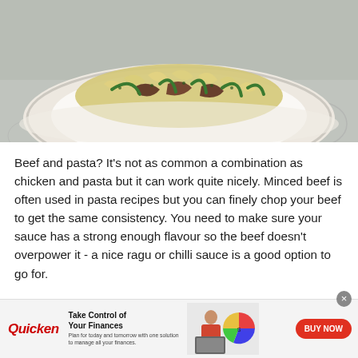[Figure (photo): A white plate with pasta, sliced beef/steak, green beans and herbs, served on a decorative lace tablecloth]
Beef and pasta? It's not as common a combination as chicken and pasta but it can work quite nicely. Minced beef is often used in pasta recipes but you can finely chop your beef to get the same consistency. You need to make sure your sauce has a strong enough flavour so the beef doesn't overpower it - a nice ragu or chilli sauce is a good option to go for.
[Figure (infographic): Advertisement banner for Quicken finance software. Logo: Quicken (red italic). Headline: Take Control of Your Finances. Subtext: Plan for today and tomorrow with one solution to manage all your finances. Image of woman with laptop and pie chart graphic. CTA button: BUY NOW (red rounded button).]